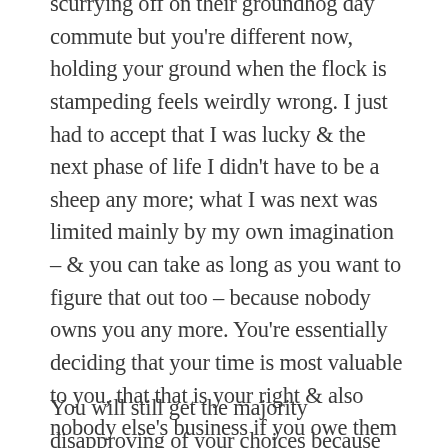scurrying off on their groundhog day commute but you're different now, holding your ground when the flock is stampeding feels weirdly wrong. I just had to accept that I was lucky & the next phase of life I didn't have to be a sheep any more; what I was next was limited mainly by my own imagination – & you can take as long as you want to figure that out too – because nobody owns you any more. You're essentially deciding that your time is most valuable to you, that that is your right & also nobody else's business if you owe them nothing & aren't hurting anyone.
You will still get the majority disapproving of your choices because those don't conform & even friends & family might try & 'help out' by finding things you can do for them to 'fill the